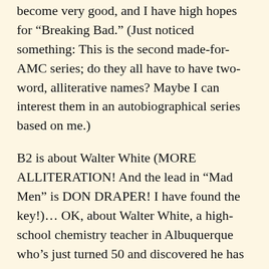become very good, and I have high hopes for “Breaking Bad.” (Just noticed something: This is the second made-for-AMC series; do they all have to have two-word, alliterative names? Maybe I can interest them in an autobiographical series based on me.)
B2 is about Walter White (MORE ALLITERATION! And the lead in “Mad Men” is DON DRAPER! I have found the key!)… OK, about Walter White, a high-school chemistry teacher in Albuquerque who’s just turned 50 and discovered he has late-stage lung cancer, the kind where the choices are die now or suffer now and die immediately later. He has some as if